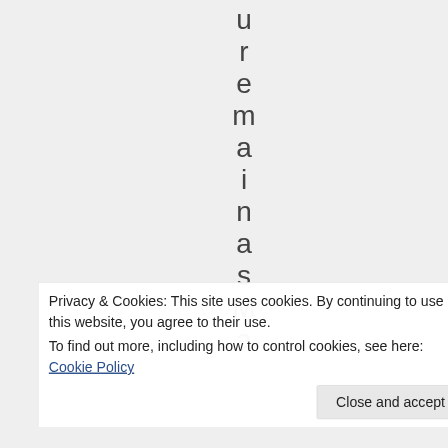u r e m a i n a s M a
Privacy & Cookies: This site uses cookies. By continuing to use this website, you agree to their use.
To find out more, including how to control cookies, see here: Cookie Policy
Close and accept